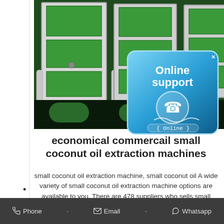[Figure (photo): Industrial coconut oil extraction machines - large green and white metallic machines in a factory setting]
[Figure (infographic): Online support badge with phone icon, blue rounded rectangle with 'Online support' text and '{ Online }' label]
economical commercail small coconut oil extraction machines
small coconut oil extraction machine, small coconut oil A wide variety of small coconut oil extraction machine options are available to you, There are 478 suppliers who sells small coconut oil extraction machine on qi e, mainly located in
Phone  •  Email  •  Whatsapp